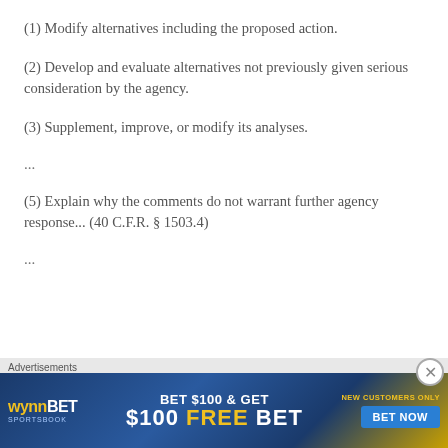(1) Modify alternatives including the proposed action.
(2) Develop and evaluate alternatives not previously given serious consideration by the agency.
(3) Supplement, improve, or modify its analyses.
...
(5) Explain why the comments do not warrant further agency response... (40 C.F.R. § 1503.4)
...
[Figure (other): WynnBET Sportsbook advertisement banner: BET $100 & GET $100 FREE BET, NEW CUSTOMERS ONLY, BET NOW button]